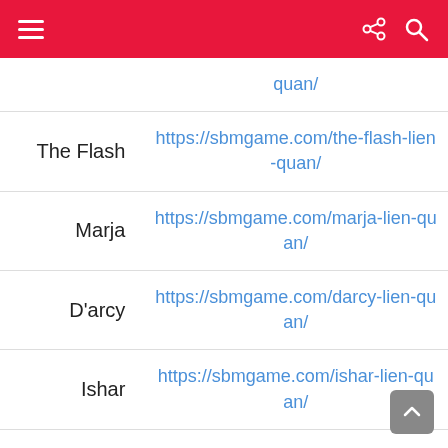Navigation header bar with hamburger menu, share icon, and search icon
| Name | URL |
| --- | --- |
|  | …quan/ |
| The Flash | https://sbmgame.com/the-flash-lien-quan/ |
| Marja | https://sbmgame.com/marja-lien-quan/ |
| D'arcy | https://sbmgame.com/darcy-lien-quan/ |
| Ishar | https://sbmgame.com/ishar-lien-quan/ |
| Dirak | https://sbmgame.com/dirak-lien-quan/ |